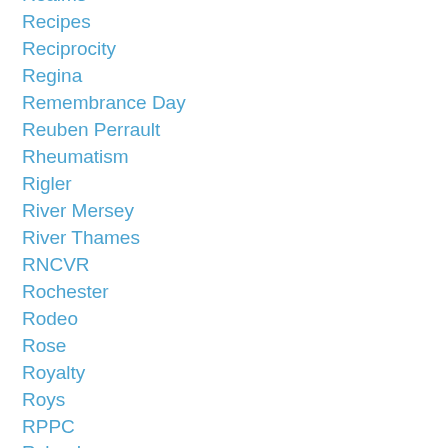Realms
Recipes
Reciprocity
Regina
Remembrance Day
Reuben Perrault
Rheumatism
Rigler
River Mersey
River Thames
RNCVR
Rochester
Rodeo
Rose
Royalty
Roys
RPPC
Ryland
Sadiesayde Nelson
Sarah E Greenwood